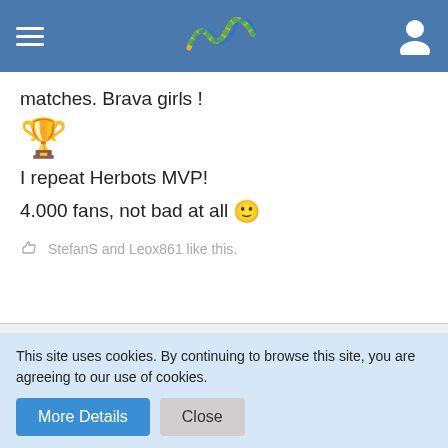Navigation header with hamburger menu, logo, and user icon
matches. Brava girls !
[Figure (illustration): Trophy emoji with confetti]
I repeat Herbots MVP!
4.000 fans, not bad at all 🙂
StefanS and Leox861 like this.
Leox
Professional
This site uses cookies. By continuing to browse this site, you are agreeing to our use of cookies.